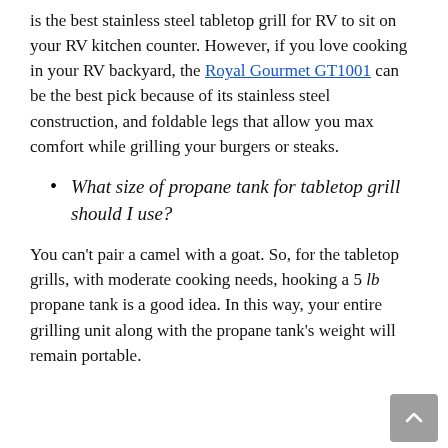is the best stainless steel tabletop grill for RV to sit on your RV kitchen counter. However, if you love cooking in your RV backyard, the Royal Gourmet GT1001 can be the best pick because of its stainless steel construction, and foldable legs that allow you max comfort while grilling your burgers or steaks.
What size of propane tank for tabletop grill should I use?
You can't pair a camel with a goat. So, for the tabletop grills, with moderate cooking needs, hooking a 5 lb propane tank is a good idea. In this way, your entire grilling unit along with the propane tank's weight will remain portable.